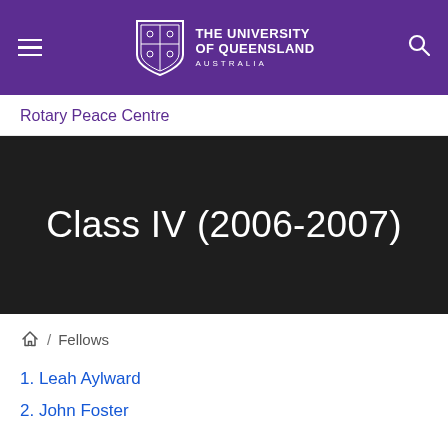The University of Queensland Australia
Rotary Peace Centre
Class IV (2006-2007)
/ Fellows
1. Leah Aylward
2. John Foster